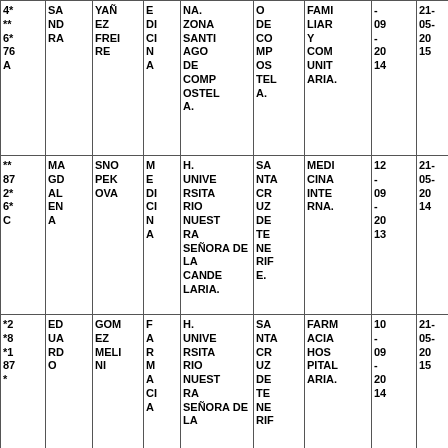| 4*
**
6*
76
A | SA
ND
RA | YAÑ
EZ
FREI
RE | E
DI
CI
N
A | NA.
ZONA
SANTI
AGO
DE
COMP
OSTEL
A. | O
DE
CO
MP
OS
TEL
A. | FAMI
LIAR
Y
COM
UNIT
ARIA. | -
09
-
20
14 | 21-
05-
20
15 | 18-
03-
20
20 | 4 |
| **
87
2*
6*
C | MA
GD
AL
EN
A | SNO
PEK
OVA | M
E
DI
CI
N
A | H.
UNIVE
RSITA
RIO
NUEST
RA
SEÑO
RA DE
LA
CANDE
LARIA. | SA
NTA
CR
UZ
DE
TE
NE
RIF
E. | MEDI
CINA
INTE
RNA. | 12
-
09
-
20
13 | 21-
05-
20
14 | 20-
05-
20
19 | 5 |
| *2
*8
*1
87
* | ED
UA
RD
O | GOM
EZ
MELI
NI | F
A
R
M
A
CI
A | H.
UNIVE
RSITA
RIO
NUEST
RA
SEÑO
RA DE
LA | SA
NTA
CR
UZ
DE
TE
NE
RIF | FARM
ACIA
HOS
PITAL
ARIA. | 10
-
09
-
20
14 | 21-
05-
20
15 | 20-
05-
20
19 | 4 |